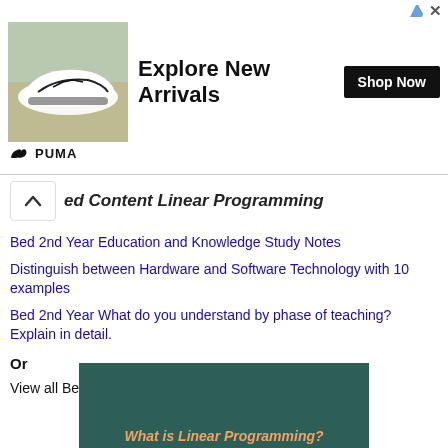[Figure (photo): PUMA advertisement banner showing sneakers image with 'Explore New Arrivals' text and 'Shop Now' button]
ed Content Linear Programming
Bed 2nd Year Education and Knowledge Study Notes
Distinguish between Hardware and Software Technology with 10 examples
Bed 2nd Year What do you understand by phase of teaching? Explain in detail.
Or
View all Bed Notes → <Click here>
[Figure (screenshot): Green background image with text 'What is Linear Programming?' in orange/gold italic font]